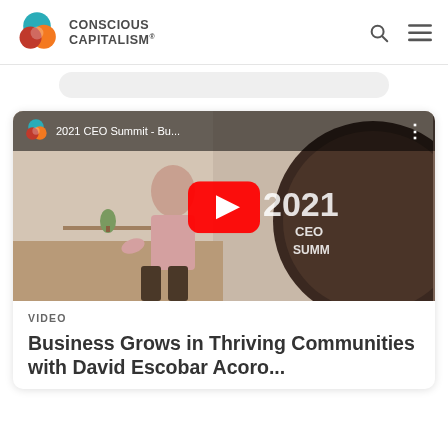CONSCIOUS CAPITALISM®
[Figure (screenshot): YouTube video thumbnail for '2021 CEO Summit - Bu...' showing a speaker in front of a 2021 CEO SUMMIT backdrop with a YouTube play button overlay]
VIDEO
Business Grows in Thriving Communities with David Escobar Acoro...| COMA...